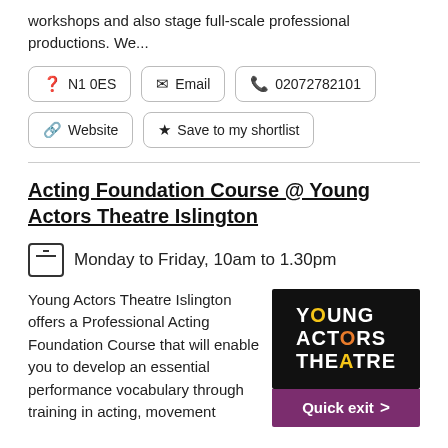workshops and also stage full-scale professional productions. We...
N1 0ES
Email
02072782101
Website
Save to my shortlist
Acting Foundation Course @ Young Actors Theatre Islington
Monday to Friday, 10am to 1.30pm
Young Actors Theatre Islington offers a Professional Acting Foundation Course that will enable you to develop an essential performance vocabulary through training in acting, movement
[Figure (logo): Young Actors Theatre logo — white text on black background with coloured letters O in YOUNG and ACTORS]
Quick exit >